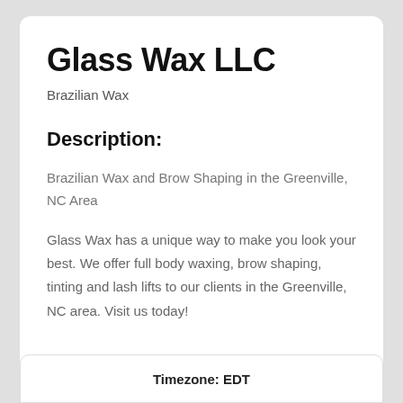Glass Wax LLC
Brazilian Wax
Description:
Brazilian Wax and Brow Shaping in the Greenville, NC Area
Glass Wax has a unique way to make you look your best. We offer full body waxing, brow shaping, tinting and lash lifts to our clients in the Greenville, NC area. Visit us today!
Timezone: EDT